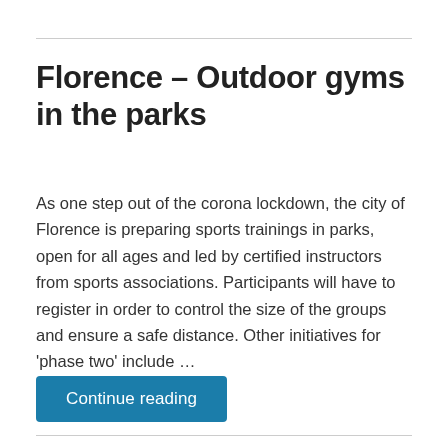Florence – Outdoor gyms in the parks
As one step out of the corona lockdown, the city of Florence is preparing sports trainings in parks, open for all ages and led by certified instructors from sports associations. Participants will have to register in order to control the size of the groups and ensure a safe distance. Other initiatives for 'phase two' include …
Continue reading